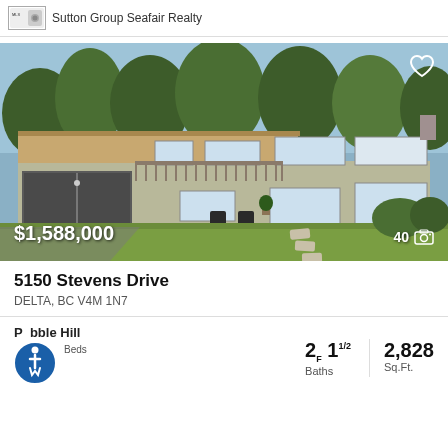Sutton Group Seafair Realty
[Figure (photo): Exterior photo of a two-storey residential house with garage, deck, and front yard lawn at 5150 Stevens Drive, Delta, BC]
5150 Stevens Drive
DELTA, BC V4M 1N7
Pebble Hill
2F 1 1/2 Baths
2,828 Sq.Ft.